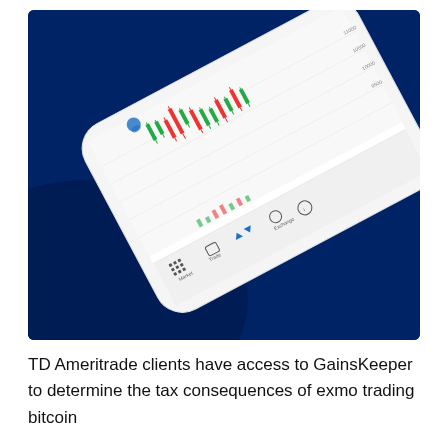[Figure (photo): A smartphone displayed at an angle on a dark navy blue background, showing a candlestick trading chart app with red and green candlestick bars. The phone appears to be showing a financial trading platform with chart and exchange UI elements visible.]
TD Ameritrade clients have access to GainsKeeper to determine the tax consequences of exmo trading bitcoin